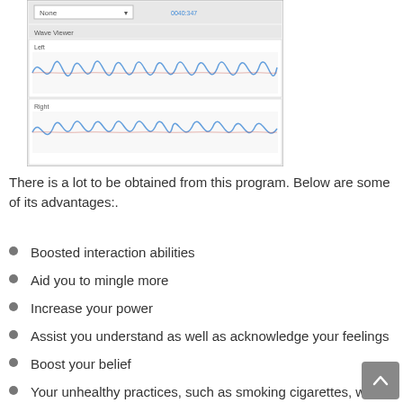[Figure (screenshot): Audio software screenshot showing a wave viewer with left and right channel waveforms in blue and red, with a dropdown menu labeled None and a timestamp.]
There is a lot to be obtained from this program. Below are some of its advantages:.
Boosted interaction abilities
Aid you to mingle more
Increase your power
Assist you understand as well as acknowledge your feelings
Boost your belief
Your unhealthy practices, such as smoking cigarettes, will